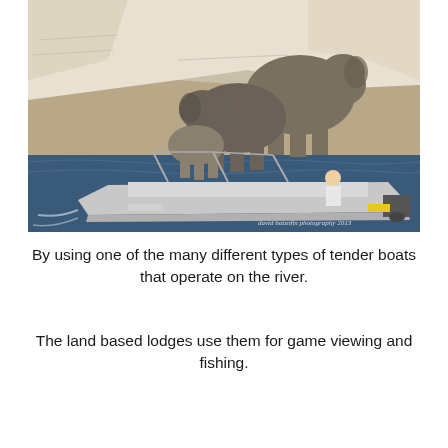[Figure (photo): A photograph showing a group of elephants near a riverbank with white chalk cliffs in the background. A motorboat with a person operating it is in the foreground on the dark blue river water. A watermark reads 'david batzofin photography 2013'.]
By using one of the many different types of tender boats that operate on the river.
The land based lodges use them for game viewing and fishing.
...